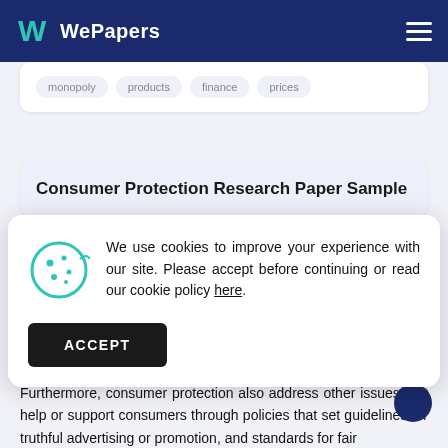WePapers
monopoly  products  finance  prices
Consumer Protection Research Paper Sample
We use cookies to improve your experience with our site. Please accept before continuing or read our cookie policy here.
ACCEPT
Furthermore, consumer protection also address other issues that help or support consumers through policies that set guidelines for truthful advertising or promotion, and standards for fair